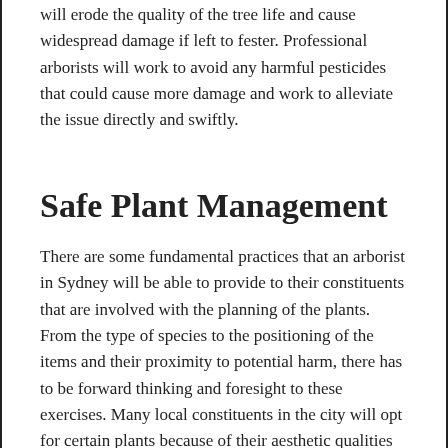will erode the quality of the tree life and cause widespread damage if left to fester. Professional arborists will work to avoid any harmful pesticides that could cause more damage and work to alleviate the issue directly and swiftly.
Safe Plant Management
There are some fundamental practices that an arborist in Sydney will be able to provide to their constituents that are involved with the planning of the plants. From the type of species to the positioning of the items and their proximity to potential harm, there has to be forward thinking and foresight to these exercises. Many local constituents in the city will opt for certain plants because of their aesthetic qualities or their affordability, but there can be little